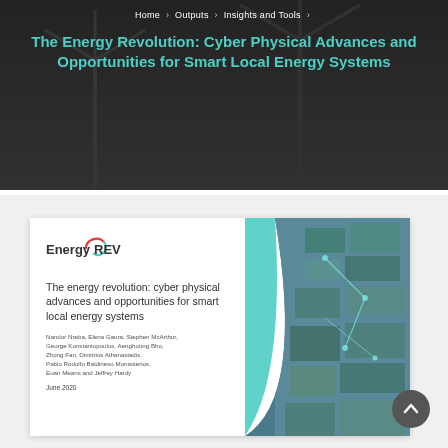Home › Outputs › Insights and Tools ›
The Energy Revolution: Cyber Physical Advances and Opportunities for Smart Local Energy Systems
[Figure (photo): Wind turbines in dark atmospheric background with overlay, forming the hero banner of the webpage.]
[Figure (photo): Report cover page thumbnail showing the EnergyREV logo, title 'The energy revolution: cyber physical advances and opportunities for smart local energy systems', authors list including Nandor Nreba, Elena Gaura, Stephen McArthur, George Konstantopoulos, Aenghoung Bho, Zhong Fan, Dimitrios Athanasiadis, Pablo Rodolfo Baldineso Monasterios, Euan Means and Jeffrey Hardy, dated June 2020, with a teal decorative curve and aerial photo of urban buildings with solar panels.]